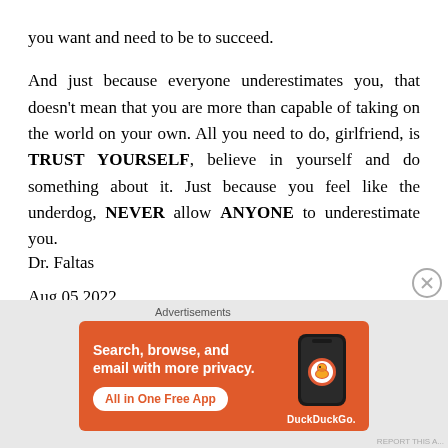you want and need to be to succeed.

And just because everyone underestimates you, that doesn't mean that you are more than capable of taking on the world on your own. All you need to do, girlfriend, is TRUST YOURSELF, believe in yourself and do something about it. Just because you feel like the underdog, NEVER allow ANYONE to underestimate you.
Dr. Faltas
Aug 05 2022
[Figure (infographic): DuckDuckGo advertisement banner with orange background. Text reads: Search, browse, and email with more privacy. All in One Free App. Shows a smartphone with DuckDuckGo logo and branding.]